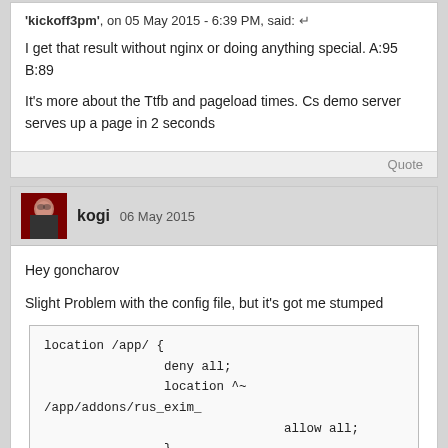'kickoff3pm', on 05 May 2015 - 6:39 PM, said:
I get that result without nginx or doing anything special. A:95 B:89
It's more about the Ttfb and pageload times. Cs demo server serves up a page in 2 seconds
Quote
kogi 06 May 2015
Hey goncharov
Slight Problem with the config file, but it's got me stumped
location /app/ {
        deny all;
        location ^~ /app/addons/rus_exim_
                allow all;
        }
}
I can still access php files in the /app/ subdirectories
Should it be?